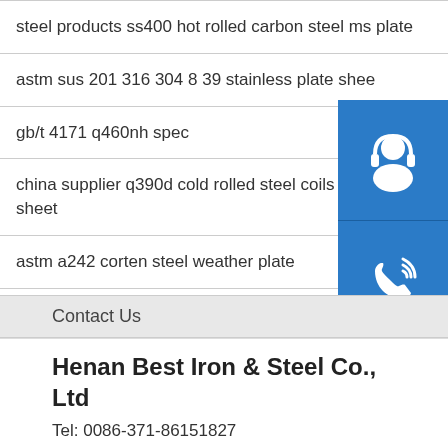steel products ss400 hot rolled carbon steel ms plate
astm sus 201 316 304 8 39 stainless plate sheet
gb/t 4171 q460nh spec
china supplier q390d cold rolled steel coils price sheet
astm a242 corten steel weather plate
[Figure (infographic): Three blue square icon buttons stacked vertically on the right side: customer service (headset icon), phone (ringing phone icon), Skype (S logo icon)]
Contact Us
Henan Best Iron & Steel Co., Ltd
Tel: 0086-371-86151827
E-Mail: lookbosteel@outlook.com